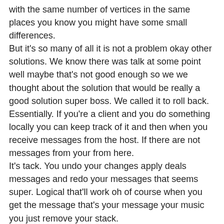with the same number of vertices in the same places you know you might have some small differences. But it's so many of all it is not a problem okay other solutions. We know there was talk at some point well maybe that's not good enough so we we thought about the solution that would be really a good solution super boss. We called it to roll back. Essentially. If you're a client and you do something locally you can keep track of it and then when you receive messages from the host. If there are not messages from your from here. It's tack. You undo your changes apply deals messages and redo your messages that seems super. Logical that'll work oh of course when you get the message that's your message your music you just remove your stack. But that'll work really nicely. If your latency is not too bad. Because your stack might be become a really really really